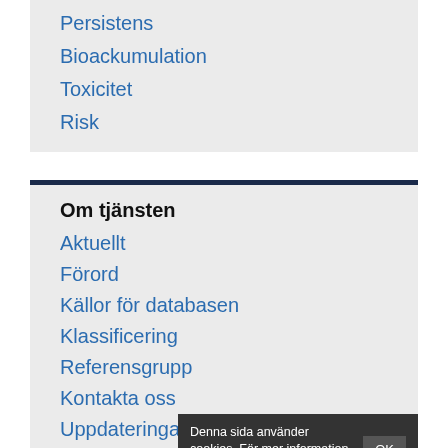Persistens
Bioackumulation
Toxicitet
Risk
Om tjänsten
Aktuellt
Förord
Källor för databasen
Klassificering
Referensgrupp
Kontakta oss
Uppdateringar
Ordförklaringar
Denna sida använder cookies. För mer information kan du läsa här